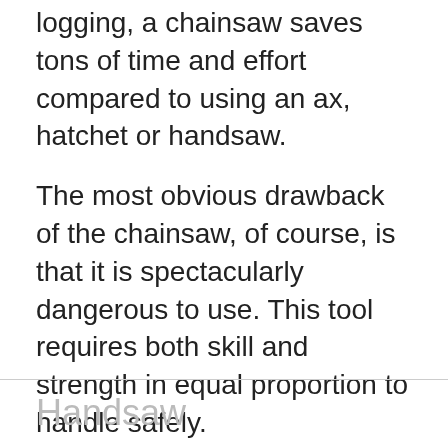logging, a chainsaw saves tons of time and effort compared to using an ax, hatchet or handsaw.
The most obvious drawback of the chainsaw, of course, is that it is spectacularly dangerous to use. This tool requires both skill and strength in equal proportion to handle safely.
A detailed breakdown of these skills is beyond the confines of this article, but suffice it to say you are wise to use all recommended safety equipment in operation. Appropriately rated safety gear is the only thing that will save you from disaster in the event of a mishap.
Handsaw